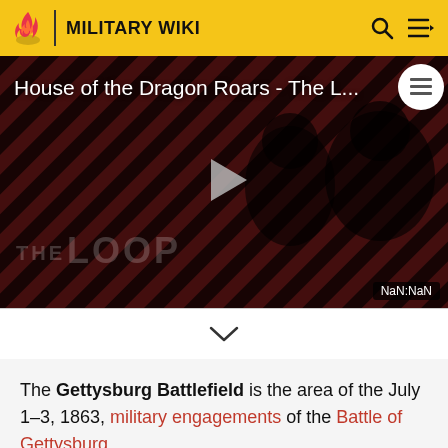MILITARY WIKI
[Figure (screenshot): Video thumbnail for 'House of the Dragon Roars - The L...' with diagonal stripe background pattern in dark red/black, two people visible in dark lighting, play button in center, 'THE LOOP' text overlay, and NaN:NaN timestamp badge in bottom right.]
The Gettysburg Battlefield is the area of the July 1–3, 1863, military engagements of the Battle of Gettysburg